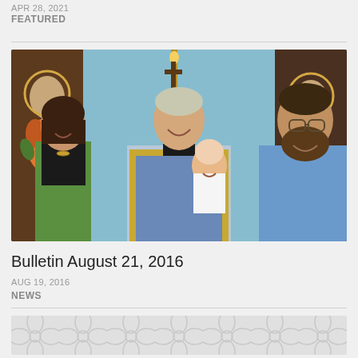APR 28, 2021
FEATURED
[Figure (photo): Group photo inside an Orthodox Christian church. From left: a woman in a green cardigan and black shirt smiling; a priest in blue and gold vestments holding a toddler in a white shirt; a bearded man in a blue shirt smiling. Icons and candles are visible in the background.]
Bulletin August 21, 2016
AUG 19, 2016
NEWS
[Figure (illustration): Decorative gray patterned background with repeating floral/geometric motif, partially visible at bottom of page.]